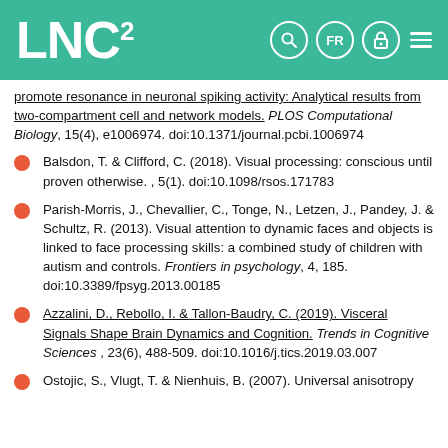LNC²
promote resonance in neuronal spiking activity: Analytical results from two-compartment cell and network models. PLOS Computational Biology, 15(4), e1006974. doi:10.1371/journal.pcbi.1006974
Balsdon, T. & Clifford, C. (2018). Visual processing: conscious until proven otherwise. , 5(1). doi:10.1098/rsos.171783
Parish-Morris, J., Chevallier, C., Tonge, N., Letzen, J., Pandey, J. & Schultz, R. (2013). Visual attention to dynamic faces and objects is linked to face processing skills: a combined study of children with autism and controls. Frontiers in psychology, 4, 185. doi:10.3389/fpsyg.2013.00185
Azzalini, D., Rebollo, I. & Tallon-Baudry, C. (2019). Visceral Signals Shape Brain Dynamics and Cognition. Trends in Cognitive Sciences , 23(6), 488-509. doi:10.1016/j.tics.2019.03.007
Ostojic, S., Vlugt, T. & Nienhuis, B. (2007). Universal anisotropy